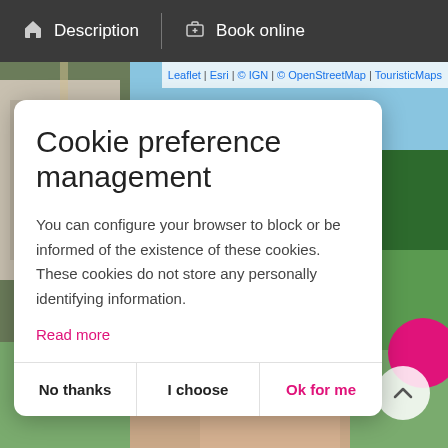[Figure (screenshot): Website screenshot showing a navigation bar with Description and Book online links, a map background with a castle and garden aerial photo, and a cookie preference management modal dialog overlay.]
Description  |  Book online
Leaflet | Esri | © IGN | © OpenStreetMap | TouristicMaps
Cookie preference management
You can configure your browser to block or be informed of the existence of these cookies. These cookies do not store any personally identifying information.
Read more
No thanks
I choose
Ok for me